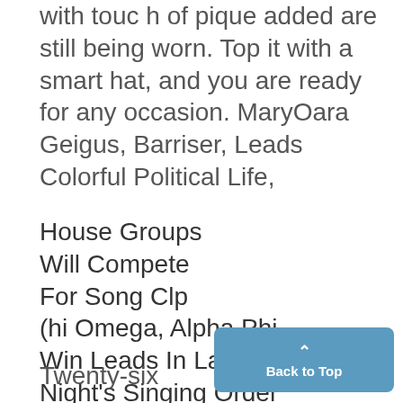with touc h of pique added are still being worn. Top it with a smart hat, and you are ready for any occasion. MaryOara Geigus, Barriser, Leads Colorful Political Life,
House Groups
Will Compete
For Song Clp
(hi Omega, Alpha Phi
Win Leads In Lantern
Night's Singing Order
Twenty-six womens house grou will compete for the annually award-